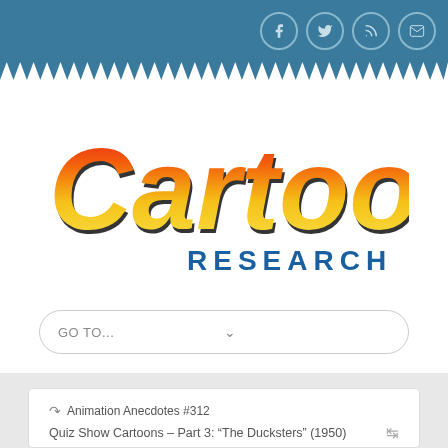[Figure (screenshot): Top blue navigation bar with social media icon circles (Facebook, Twitter, RSS, Email) on the right]
[Figure (logo): Cartoon Research logo — colorful script 'Cartoon' text with red-orange-yellow gradient and bold outlined letters, with 'RESEARCH' in blue spaced capitals beneath]
GO TO...
Animation Anecdotes #312
Quiz Show Cartoons – Part 3: “The Ducksters” (1950)
CHRISTOPHER P. LEHMAN
MAY 6, 2017   POSTED BY